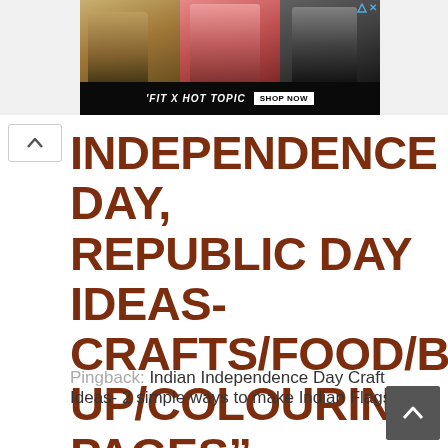[Figure (photo): Advertisement banner showing three young people, text reading 'FIT X HOT TOPIC SHOP NOW' on dark background. Small triangle/X close button in top right.]
INDEPENDENCE DAY, REPUBLIC DAY IDEAS- CRAFTS/FOOD/BOOKS/DRESS UP/COLOURING PAGES"
Pingback: Indian Independence Day Craft Ideas- 2 simple ways to make Indian Flags